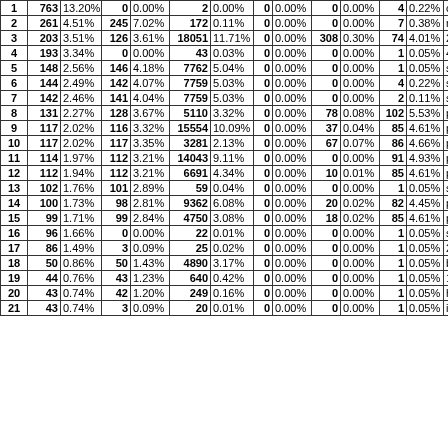| 1 | 763 | 13.20% | 0 | 0.00% | 2 | 0.00% | 0 | 0.00% | 0 | 0.00% | 4 | 0.22% | crawl-prodd4- |
| 2 | 261 | 4.51% | 245 | 7.02% | 172 | 0.11% | 0 | 0.00% | 0 | 0.00% | 7 | 0.38% | ninja-crawler7 |
| 3 | 203 | 3.51% | 126 | 3.61% | 18051 | 11.71% | 0 | 0.00% | 308 | 0.30% | 74 | 4.01% | 216.244.66.24 |
| 4 | 193 | 3.34% | 0 | 0.00% | 43 | 0.03% | 0 | 0.00% | 0 | 0.00% | 1 | 0.05% | 41.215.172.35 |
| 5 | 148 | 2.56% | 146 | 4.18% | 7762 | 5.04% | 0 | 0.00% | 0 | 0.00% | 1 | 0.05% | static.105.143. |
| 6 | 144 | 2.49% | 142 | 4.07% | 7759 | 5.03% | 0 | 0.00% | 0 | 0.00% | 4 | 0.22% | static.250.139. |
| 7 | 142 | 2.46% | 141 | 4.04% | 7759 | 5.03% | 0 | 0.00% | 0 | 0.00% | 2 | 0.11% | static.172.150. |
| 8 | 131 | 2.27% | 128 | 3.67% | 5110 | 3.32% | 0 | 0.00% | 78 | 0.08% | 102 | 5.53% | petalbot-114-1 |
| 9 | 117 | 2.02% | 116 | 3.32% | 15554 | 10.09% | 0 | 0.00% | 37 | 0.04% | 85 | 4.61% | petalbot-114-1 |
| 10 | 117 | 2.02% | 117 | 3.35% | 3281 | 2.13% | 0 | 0.00% | 67 | 0.07% | 86 | 4.66% | petalbot-114-1 |
| 11 | 114 | 1.97% | 112 | 3.21% | 14043 | 9.11% | 0 | 0.00% | 0 | 0.00% | 91 | 4.93% | petalbot-114-1 |
| 12 | 112 | 1.94% | 112 | 3.21% | 6691 | 4.34% | 0 | 0.00% | 10 | 0.01% | 85 | 4.61% | petalbot-114-1 |
| 13 | 102 | 1.76% | 101 | 2.89% | 59 | 0.04% | 0 | 0.00% | 0 | 0.00% | 1 | 0.05% | static.26.110.1 |
| 14 | 100 | 1.73% | 98 | 2.81% | 9362 | 6.08% | 0 | 0.00% | 20 | 0.02% | 82 | 4.45% | petalbot-114-1 |
| 15 | 99 | 1.71% | 99 | 2.84% | 4750 | 3.08% | 0 | 0.00% | 18 | 0.02% | 85 | 4.61% | petalbot-114-1 |
| 16 | 96 | 1.66% | 0 | 0.00% | 22 | 0.01% | 0 | 0.00% | 0 | 0.00% | 1 | 0.05% | static.28.69.18. |
| 17 | 86 | 1.49% | 3 | 0.09% | 25 | 0.02% | 0 | 0.00% | 0 | 0.00% | 1 | 0.05% | 2.58.149.180 |
| 18 | 50 | 0.86% | 50 | 1.43% | 4890 | 3.17% | 0 | 0.00% | 0 | 0.00% | 1 | 0.05% | bzq-82-80-244- |
| 19 | 44 | 0.76% | 43 | 1.23% | 640 | 0.42% | 0 | 0.00% | 0 | 0.00% | 1 | 0.05% | 188.123.118.1 |
| 20 | 43 | 0.74% | 42 | 1.20% | 249 | 0.16% | 0 | 0.00% | 0 | 0.00% | 1 | 0.05% | host-550b4811 |
| 21 | 43 | 0.74% | 3 | 0.09% | 20 | 0.01% | 0 | 0.00% | 0 | 0.00% | 1 | 0.05% | ip-184-168-12- |